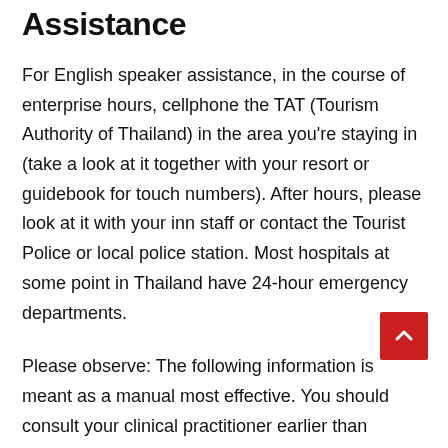Assistance
For English speaker assistance, in the course of enterprise hours, cellphone the TAT (Tourism Authority of Thailand) in the area you're staying in (take a look at it together with your resort or guidebook for touch numbers). After hours, please look at it with your inn staff or contact the Tourist Police or local police station. Most hospitals at some point in Thailand have 24-hour emergency departments.
Please observe: The following information is meant as a manual most effective. You should consult your clinical practitioner earlier than leaving domestic. If you experience sick while touring in Thailand, please are seeking the help of a qualified medical practitioner right now. Immunization: There are no prerequisite immunizations required earlier than visiting Thailand, but